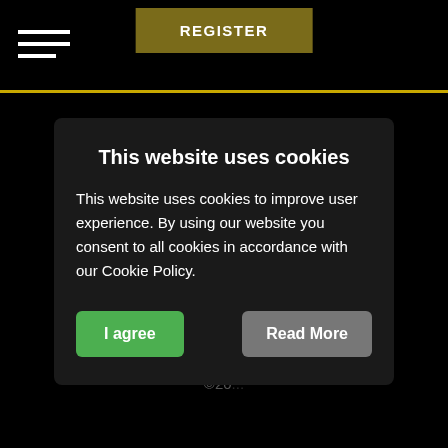[Figure (other): Hamburger menu icon — three white horizontal bars at top left]
REGISTER
Background art by
Kauê Daiprai
All trademarks referenced herein are the property of their respective owners.
©20...
This website uses cookies
This website uses cookies to improve user experience. By using our website you consent to all cookies in accordance with our Cookie Policy.
I agree
Read More